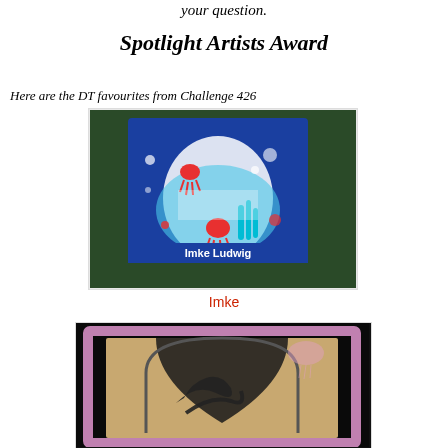your question.
Spotlight Artists Award
Here are the DT favourites from Challenge 426
[Figure (photo): A handmade greeting card with a blue background featuring octopus die-cuts in red, white foam/bubble shapes, and coral elements. The card is labeled 'Imke Ludwig' at the bottom.]
Imke
[Figure (photo): A handmade card featuring an arched window design with silhouette dolphins and a jellyfish, with a dark background and pink/purple frame.]